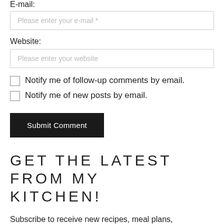E-mail:
Please enter your e-mail *
Website:
Please enter your website
Notify me of follow-up comments by email.
Notify me of new posts by email.
Submit Comment
GET THE LATEST FROM MY KITCHEN!
Subscribe to receive new recipes, meal plans, kitchen tips and more as soon as they're available!